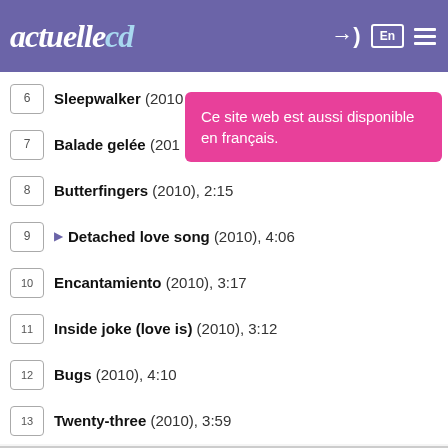actuellecd
Ce site web est aussi disponible en français.
6  Sleepwalker (2010...
7  Balade gelée (201...
8  Butterfingers (2010), 2:15
9  ▶ Detached love song (2010), 4:06
10  Encantamiento (2010), 3:17
11  Inside joke (love is) (2010), 3:12
12  Bugs (2010), 4:10
13  Twenty-three (2010), 3:59
By continuing browsing our site, you agree to the use of cookies, which allow audience analytics.